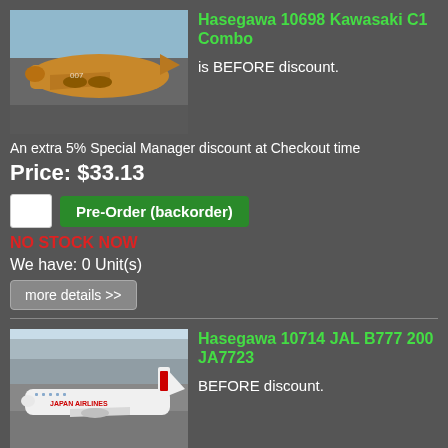Hasegawa 10698 Kawasaki C1 Combo
is BEFORE discount.
An extra 5% Special Manager discount at Checkout time
Price: $33.13
Pre-Order (backorder)
NO STOCK NOW
We have: 0 Unit(s)
more details >>
Hasegawa 10714 JAL B777 200 JA7723
BEFORE discount.
An extra 5% Special Manager discount at Checkout time